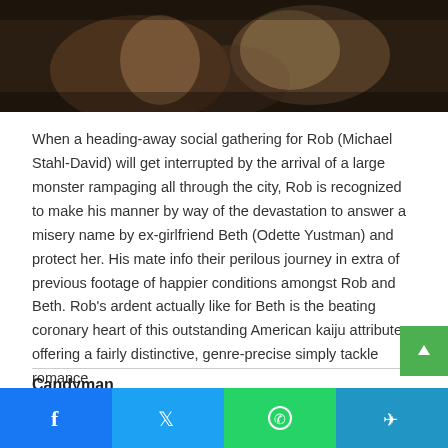[Figure (photo): Dark cinematic photo showing people in a tense scene, appears to be a movie still]
When a heading-away social gathering for Rob (Michael Stahl-David) will get interrupted by the arrival of a large monster rampaging all through the city, Rob is recognized to make his manner by way of the devastation to answer a misery name by ex-girlfriend Beth (Odette Yustman) and protect her. His mate info their perilous journey in extra of previous footage of happier conditions amongst Rob and Beth. Rob's ardent actually like for Beth is the beating coronary heart of this outstanding American kaiju attribute, offering a fairly distinctive, genre-precise simply tackle romance.
Candyman